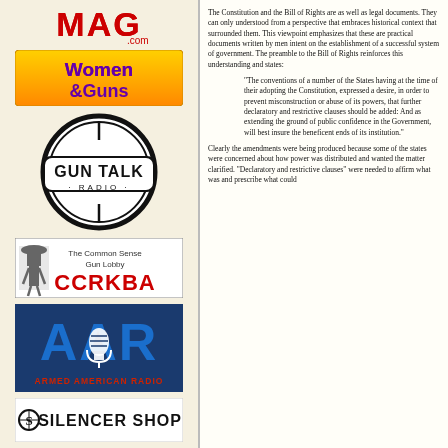[Figure (logo): GunMag Warehouse logo - MAG.com in red block letters]
[Figure (logo): Women & Guns logo - orange/yellow background with purple text]
[Figure (logo): Gun Talk Radio logo - circular badge design in black and white]
[Figure (logo): CCRKBA - The Common Sense Gun Lobby logo with cowboy figure]
[Figure (logo): AAR Armed American Radio logo in blue with microphone]
[Figure (logo): Silencer Shop logo in black on white]
The Constitution and the Bill of Rights are as well as legal documents. They can only understood from a perspective that embraces historical context that surrounded them. This viewpoint emphasizes that these are practical documents written by men intent on the establishment of a successful system of government. The preamble to the Bill of Rights reinforces this understanding and states:
"The conventions of a number of the States having at the time of their adopting the Constitution, expressed a desire, in order to prevent misconstruction or abuse of its powers, that further declaratory and restrictive clauses should be added: And as extending the ground of public confidence in the Government, will best insure the beneficent ends of its institution."
Clearly the amendments were being produced because some of the states were concerned about how power was distributed and wanted the matter clarified. "Declaratory and restrictive clauses" were needed to affirm what was and prescribe what could